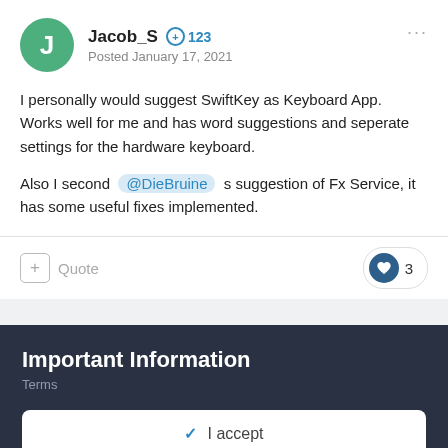Jacob_S  +123  Posted January 17, 2021
I personally would suggest SwiftKey as Keyboard App. Works well for me and has word suggestions and seperate settings for the hardware keyboard.
Also I second @DieBruine s suggestion of Fx Service, it has some useful fixes implemented.
+ Quote   ♥ 3
Important Information
Terms
✓  I accept